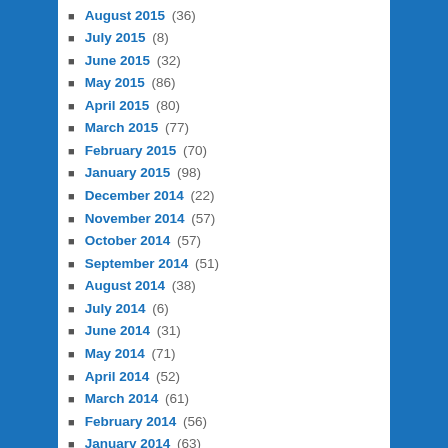August 2015 (36)
July 2015 (8)
June 2015 (32)
May 2015 (86)
April 2015 (80)
March 2015 (77)
February 2015 (70)
January 2015 (98)
December 2014 (22)
November 2014 (57)
October 2014 (57)
September 2014 (51)
August 2014 (38)
July 2014 (6)
June 2014 (31)
May 2014 (71)
April 2014 (52)
March 2014 (61)
February 2014 (56)
January 2014 (63)
December 2013 (56)